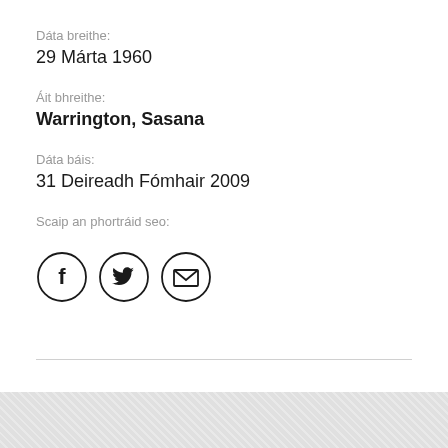Dáta breithe:
29 Márta 1960
Áit bhreithe:
Warrington, Sasana
Dáta báis:
31 Deireadh Fómhair 2009
Scaip an phortráid seo:
[Figure (infographic): Three circular social share icons: Facebook (f), Twitter (bird), and Email (envelope)]